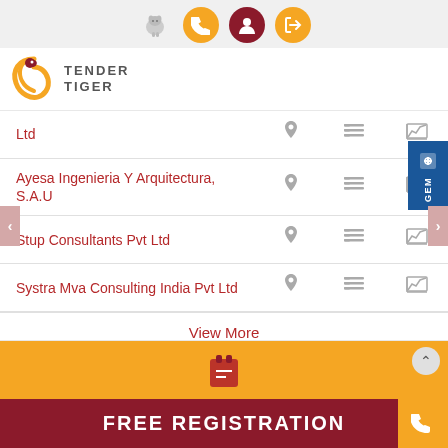Tender Tiger navigation bar with elephant icon, phone, user, and sign-in buttons
[Figure (logo): Tender Tiger logo with stylized tiger head and curved stripe]
| Company | Location | Details | Chart |
| --- | --- | --- | --- |
| Ltd |  |  |  |
| Ayesa Ingenieria Y Arquitectura, S.A.U |  |  |  |
| Stup Consultants Pvt Ltd |  |  |  |
| Systra Mva Consulting India Pvt Ltd |  |  |  |
View More
[Figure (other): GEM sidebar button (blue, vertical text)]
[Figure (other): Clipboard/registration icon on yellow background]
FREE REGISTRATION